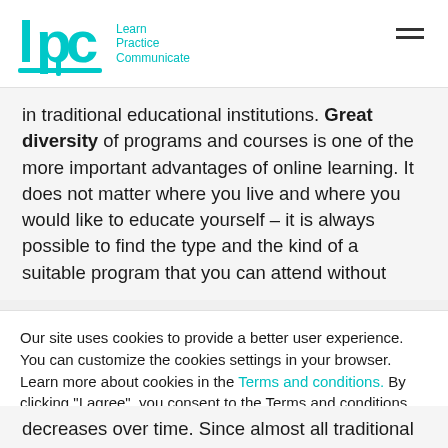[Figure (logo): LPC logo with teal lettering — 'lpc' stylized with Learn Practice Communicate text beside it]
in traditional educational institutions. Great diversity of programs and courses is one of the more important advantages of online learning. It does not matter where you live and where you would like to educate yourself – it is always possible to find the type and the kind of a suitable program that you can attend without
Our site uses cookies to provide a better user experience. You can customize the cookies settings in your browser. Learn more about cookies in the Terms and conditions. By clicking "I agree", you consent to the Terms and conditions.
I agree
decreases over time. Since almost all traditional